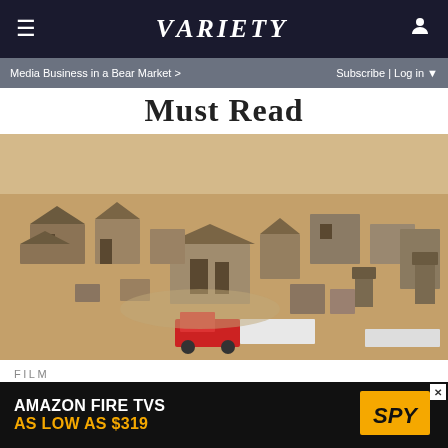VARIETY
Media Business in a Bear Market >    Subscribe | Log in
Must Read
[Figure (photo): Aerial view of the Bonanza Creek Ranch film location, a rustic western town set with multiple wooden buildings, dirt roads, a water tower, and a red truck, photographed from above.]
FILM
'Rust' Fallout: Hollywood Studios and Unions Fail to Reach Deal on Firearm Safety
[Figure (other): Advertisement for Amazon Fire TVs: 'AMAZON FIRE TVS AS LOW AS $319' with SPY logo]